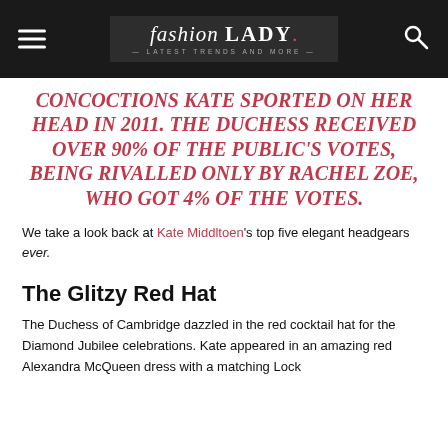fashion LADY
CONCOCTIONS KATE SPORTED ON HER HEAD IN 2011. THE DUCHESS RECEIVED OVER 90% OF THE PUBLIC'S VOTES, BEING RIVALLED ONLY BY RACHEL ZOE, WHO GOT 4% OF THE VOTES.
We take a look back at Kate Middltoen's top five elegant headgears ever.
The Glitzy Red Hat
The Duchess of Cambridge dazzled in the red cocktail hat for the Diamond Jubilee celebrations. Kate appeared in an amazing red Alexandra McQueen dress with a matching Lock